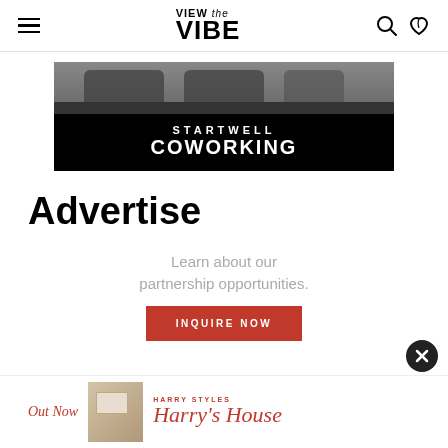VIEW the VIBE
[Figure (photo): Startwell Coworking banner image — top half shows dark car seats or chairs, bottom half is black with white text reading STARTWELL COWORKING]
Advertise
Learn about our partnership opportunities.
INQUIRE NOW
[Figure (infographic): Harry Styles Harry's House advertisement banner at the bottom of the page with 'Out Now' in red italic, a small room photo, 'HARRY STYLES' label, and 'Harry's House' in red serif font]